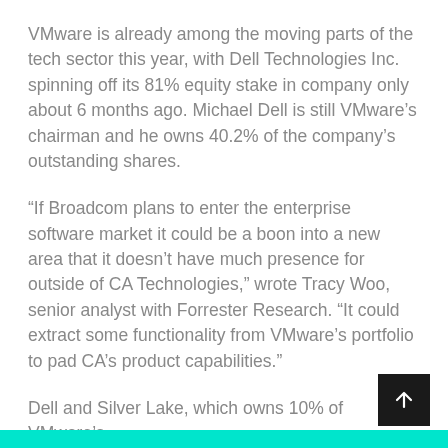VMware is already among the moving parts of the tech sector this year, with Dell Technologies Inc. spinning off its 81% equity stake in company only about 6 months ago. Michael Dell is still VMware's chairman and he owns 40.2% of the company's outstanding shares.
“If Broadcom plans to enter the enterprise software market it could be a boon into a new area that it doesn’t have much presence for outside of CA Technologies,” wrote Tracy Woo, senior analyst with Forrester Research. “It could extract some functionality from VMware’s portfolio to pad CA’s product capabilities.”
Dell and Silver Lake, which owns 10% of VMware’s